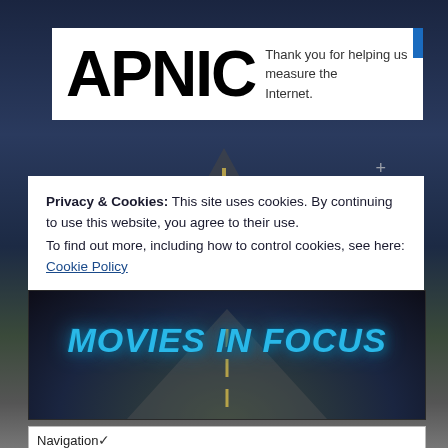[Figure (screenshot): APNIC logo and banner with text 'Thank you for helping us measure the Internet.']
Thank you for helping us measure the Internet.
Privacy & Cookies: This site uses cookies. By continuing to use this website, you agree to their use.
To find out more, including how to control cookies, see here: Cookie Policy
Close and accept
[Figure (screenshot): Movies in Focus banner with stylized blue italic text on a dark road background]
Navigation